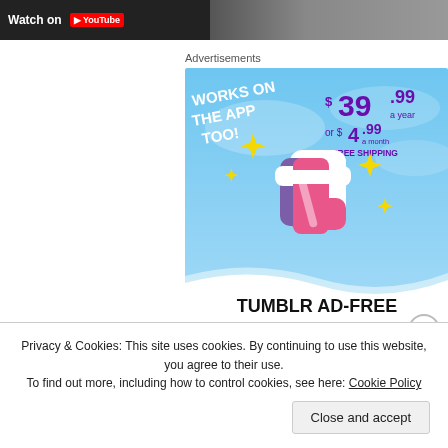[Figure (screenshot): Top video banner showing 'Watch on YouTube' button on dark background]
Advertisements
[Figure (illustration): Tumblr ad-free browsing advertisement. Shows 'WORKS ON THE APP TOO!' text, price '$39.99 a year or $4.99 a month + FREE SHIPPING', Tumblr logo, yellow sparkles on blue sky background, and 'TUMBLR AD-FREE BROWSING' at the bottom.]
Privacy & Cookies: This site uses cookies. By continuing to use this website, you agree to their use.
To find out more, including how to control cookies, see here: Cookie Policy
Close and accept